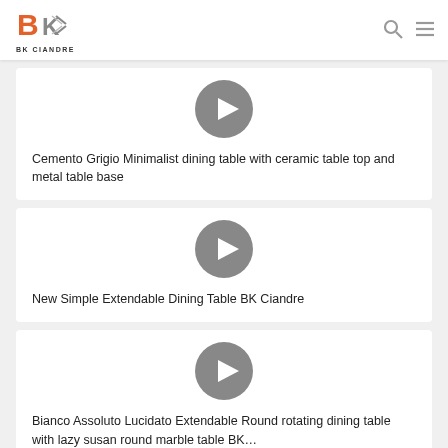[Figure (logo): BK Ciandre logo with orange B and grey K with chevron, text BK CIANDRE below]
[Figure (screenshot): Video play button circle icon for first video card]
Cemento Grigio Minimalist dining table with ceramic table top and metal table base
[Figure (screenshot): Video play button circle icon for second video card]
New Simple Extendable Dining Table BK Ciandre
[Figure (screenshot): Video play button circle icon for third video card]
Bianco Assoluto Lucidato Extendable Round rotating dining table with lazy susan round marble table BK…
[Figure (screenshot): Video play button circle icon for fourth video card (partially visible)]
Sassi Custom Kitchen Cabinets Z…